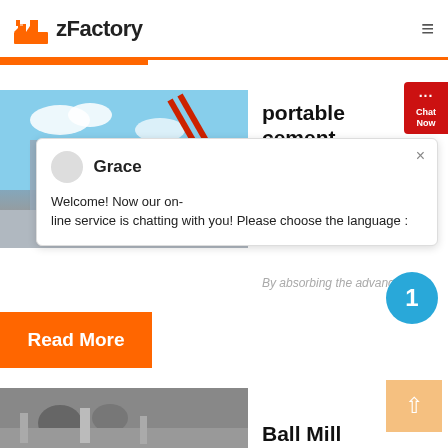zFactory
[Figure (screenshot): Industrial cement plant facility photo with blue sky and industrial structures]
portable cement
[Figure (screenshot): Chat Now widget in red on right side with speech bubble icon]
[Figure (screenshot): Chat popup dialog from Grace: Welcome! Now our on-line service is chatting with you! Please choose the language :]
By absorbing the advanced tech...
[Figure (other): Blue circle with number 1]
Read More
[Figure (screenshot): Up arrow button in light orange/peach color]
[Figure (photo): Ball Mill machinery photo]
Ball Mill